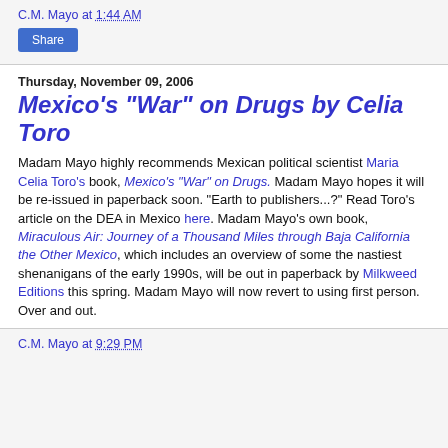C.M. Mayo at 1:44 AM
Share
Thursday, November 09, 2006
Mexico's "War" on Drugs by Celia Toro
Madam Mayo highly recommends Mexican political scientist Maria Celia Toro's book, Mexico's "War" on Drugs. Madam Mayo hopes it will be re-issued in paperback soon. "Earth to publishers...?" Read Toro's article on the DEA in Mexico here. Madam Mayo's own book, Miraculous Air: Journey of a Thousand Miles through Baja California the Other Mexico, which includes an overview of some the nastiest shenanigans of the early 1990s, will be out in paperback by Milkweed Editions this spring. Madam Mayo will now revert to using first person. Over and out.
C.M. Mayo at 9:29 PM